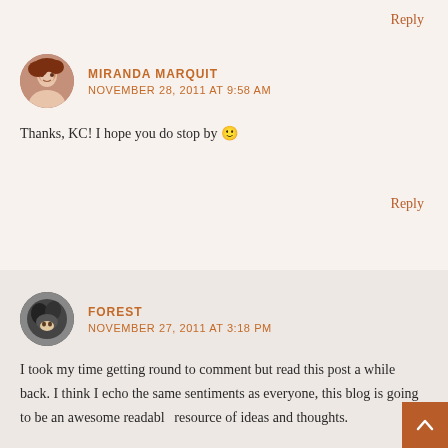Reply
MIRANDA MARQUIT
NOVEMBER 28, 2011 AT 9:58 AM
Thanks, KC! I hope you do stop by 🙂
Reply
FOREST
NOVEMBER 27, 2011 AT 3:18 PM
I took my time getting round to comment but read this post a while back. I think I echo the same sentiments as everyone, this blog is going to be an awesome readable resource of ideas and thoughts.